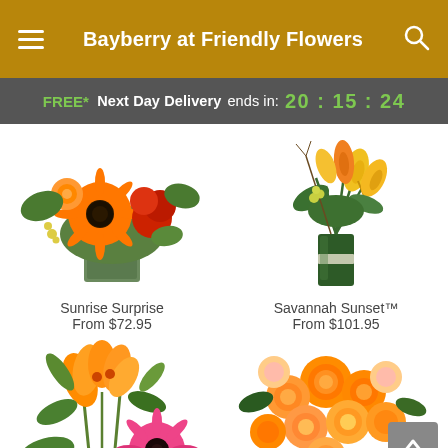Bayberry at Friendly Flowers
FREE* Next Day Delivery ends in: 20:15:24
[Figure (photo): Orange gerbera daisy and carnation flower arrangement in a green square vase — Sunrise Surprise]
Sunrise Surprise
From $72.95
[Figure (photo): Orange and yellow calla lily arrangement in a tall green cylindrical vase — Savannah Sunset™]
Savannah Sunset™
From $101.95
[Figure (photo): Orange lily and pink gerbera daisy mixed bouquet arrangement — partially visible bottom left]
[Figure (photo): Orange rose bouquet arrangement — partially visible bottom right]